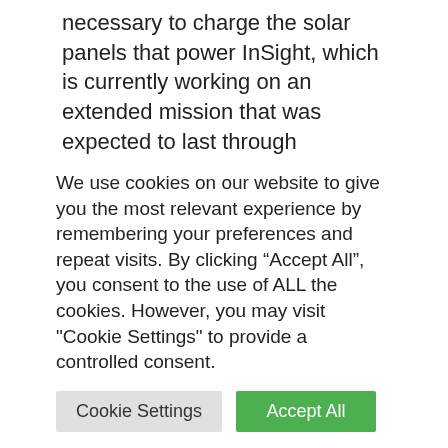necessary to charge the solar panels that power InSight, which is currently working on an extended mission that was expected to last through December. The mission achieved its primary goals after its first two years on Mars.
The final selfie shows that the lander is covered with far more dust than it was in previous selfies from December 2018 and
We use cookies on our website to give you the most relevant experience by remembering your preferences and repeat visits. By clicking “Accept All”, you consent to the use of ALL the cookies. However, you may visit "Cookie Settings" to provide a controlled consent.